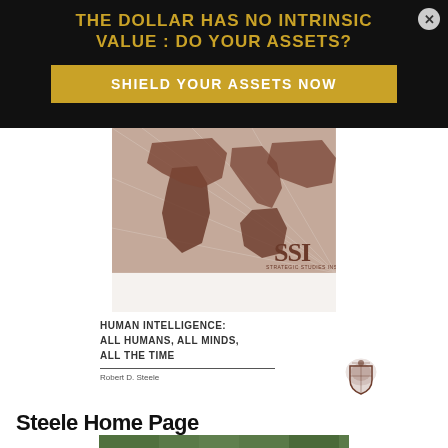THE DOLLAR HAS NO INTRINSIC VALUE : DO YOUR ASSETS?
SHIELD YOUR ASSETS NOW
[Figure (illustration): SSI book cover showing a world map in brownish tones with radiating lines, SSI logo at bottom right]
HUMAN INTELLIGENCE: ALL HUMANS, ALL MINDS, ALL THE TIME
Robert D. Steele
[Figure (logo): Military/institutional crest logo in dark brown]
Steele Home Page
[Figure (photo): Partial photo strip at bottom of page, appears to show outdoor/nature scene]